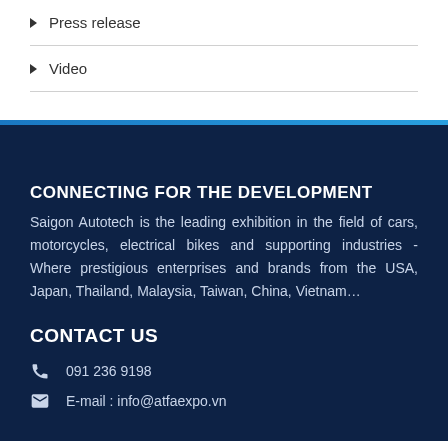Press release
Video
CONNECTING FOR THE DEVELOPMENT
Saigon Autotech is the leading exhibition in the field of cars, motorcycles, electrical bikes and supporting industries - Where prestigious enterprises and brands from the USA, Japan, Thailand, Malaysia, Taiwan, China, Vietnam…
CONTACT US
091 236 9198
E-mail : info@atfaexpo.vn